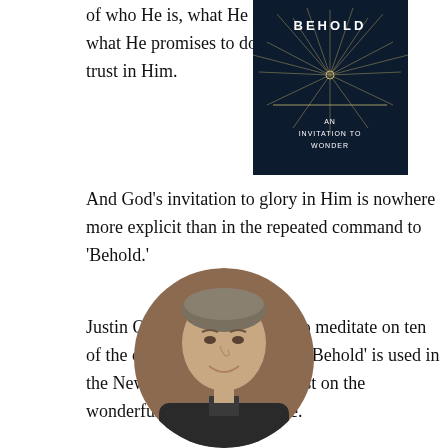of who He is, what He is doing, and what He promises to do for all who trust in Him.
[Figure (photo): Book cover for 'Behold: An Invitation to Wonder' — dark navy background with radiating light rays, text in white]
And God’s invitation to glory in Him is nowhere more explicit than in the repeated command to ‘Behold.’
Justin O. Huffman invites us to meditate on ten of the occasions the command ‘Behold’ is used in the New Testament, and to feast on the wonderful truth we find there.
[Figure (photo): Circular portrait photo of author Justin O. Huffman, a middle-aged man with grey-brown hair, smiling, wearing a dark jacket]